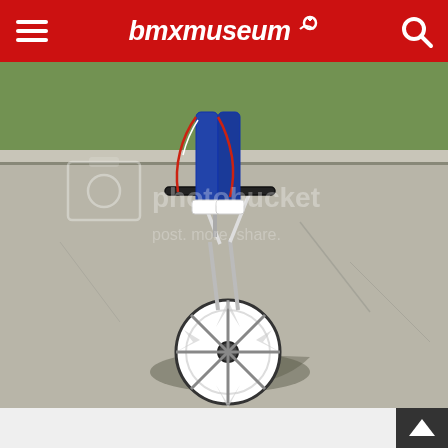bmxmuseum
[Figure (photo): A BMX bike performing a wheelie or trick on a street/parking lot, with the front wheel up and a rider visible. The bike has white mag wheels. There is a photobucket watermark overlay on the image. Background shows grass and asphalt.]
[Figure (other): Scroll-to-top button arrow icon in dark box at bottom right]